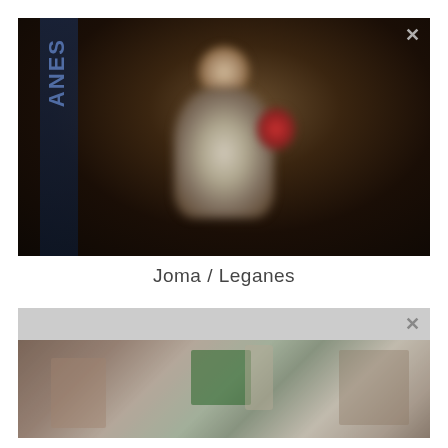[Figure (photo): Blurry dark video still showing a person standing at what appears to be a podium or event, with a banner on the left side showing partial text, and a close/X button in the top right corner.]
Joma / Leganes
[Figure (screenshot): Partially visible video player with a light gray header bar containing a close/X button, and below it a blurry indoor scene showing people and what appears to be a green sign or poster.]